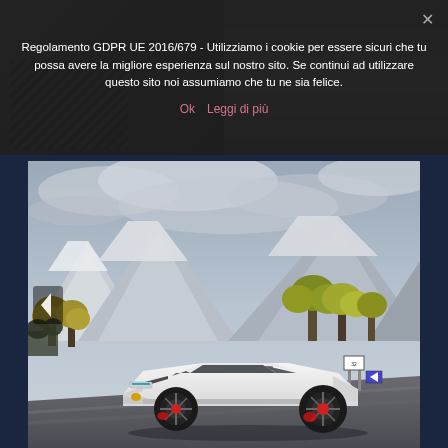[Figure (photo): Top portion: dark fashion photo showing people in dark clothing with geometric/plaid pattern fabric visible, partially obscured by cookie consent banner overlay]
Regolamento GDPR UE 2016/679 - Utilizziamo i cookie per essere sicuri che tu possa avere la migliore esperienza sul nostro sito. Se continui ad utilizzare questo sito noi assumiamo che tu ne sia felice.
Ok   Leggi di più
[Figure (photo): White Lamborghini Countach supercar parked on a mountain road with snowy peaks, overcast sky, and autumn-colored trees in the background. Navigation arrow visible on the left side.]